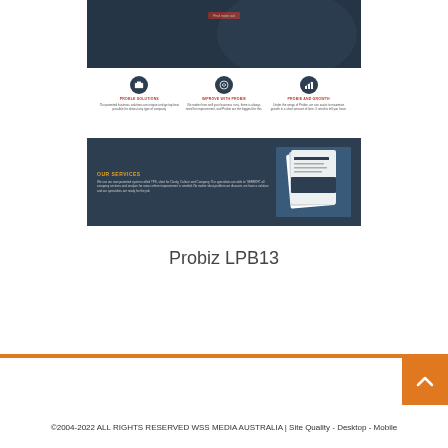[Figure (screenshot): Screenshot of Probiz LPB13 website template showing a dark navy hero section with a red button, a white features section with three icon columns (PROBLE SOLUTIONS, IMPROVE WITH PROBIE, PROBIE AND GROWTH), and a dark navy services section with text and a brochure image.]
Probiz LPB13
©2004-2022 ALL RIGHTS RESERVED WSS MEDIA AUSTRALIA | Site Quality - Desktop - Mobile